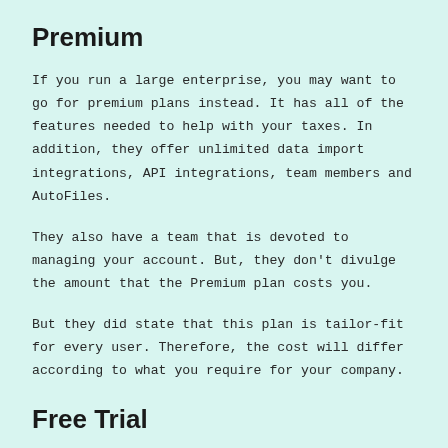Premium
If you run a large enterprise, you may want to go for premium plans instead. It has all of the features needed to help with your taxes. In addition, they offer unlimited data import integrations, API integrations, team members and AutoFiles.
They also have a team that is devoted to managing your account. But, they don't divulge the amount that the Premium plan costs you.
But they did state that this plan is tailor-fit for every user. Therefore, the cost will differ according to what you require for your company.
Free Trial